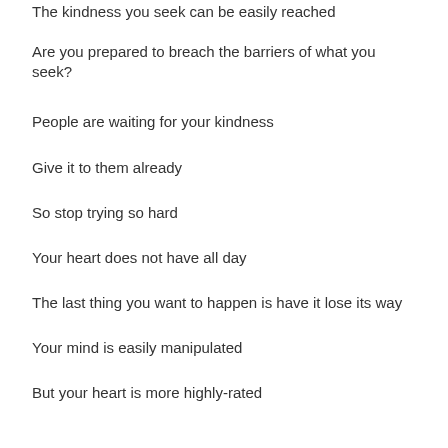The kindness you seek can be easily reached
Are you prepared to breach the barriers of what you seek?
People are waiting for your kindness
Give it to them already
So stop trying so hard
Your heart does not have all day
The last thing you want to happen is have it lose its way
Your mind is easily manipulated
But your heart is more highly-rated